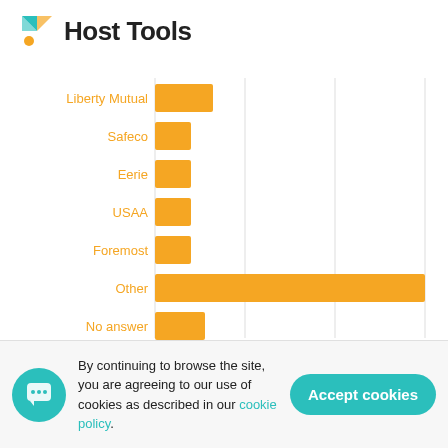Host Tools
[Figure (bar-chart): ]
Results of our survey of 41 short-term rental hosts. The ‘Other’ category groups together the providers that received only one
By continuing to browse the site, you are agreeing to our use of cookies as described in our cookie policy.
Accept cookies